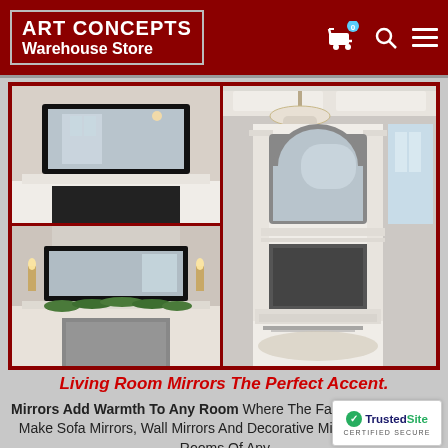ART CONCEPTS Warehouse Store
[Figure (photo): Three interior room photos showing mirrors above fireplaces in living rooms. Top-left: dark framed mirror above white fireplace mantel. Bottom-left: rectangular mirror with black frame above a decorated mantel with garland. Right: tall elegant white fireplace surround with arched mirror.]
Living Room Mirrors The Perfect Accent.
Mirrors Add Warmth To Any Room Where The Family Gathers. We Make Sofa Mirrors, Wall Mirrors And Decorative Mirrors For Family Rooms Of Any